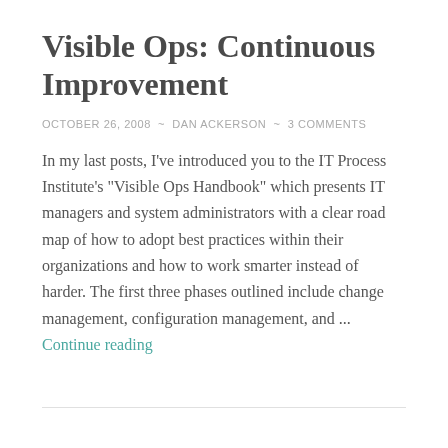Visible Ops: Continuous Improvement
OCTOBER 26, 2008  ~  DAN ACKERSON  ~  3 COMMENTS
In my last posts, I've introduced you to the IT Process Institute's "Visible Ops Handbook" which presents IT managers and system administrators with a clear road map of how to adopt best practices within their organizations and how to work smarter instead of harder. The first three phases outlined include change management, configuration management, and ... Continue reading